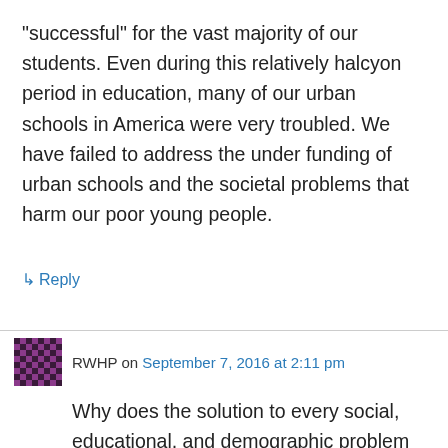“successful” for the vast majority of our students. Even during this relatively halcyon period in education, many of our urban schools in America were very troubled. We have failed to address the under funding of urban schools and the societal problems that harm our poor young people.
↳ Reply
RWHP on September 7, 2016 at 2:11 pm
Why does the solution to every social, educational, and demographic problem involve making the USA into a European country? The beauty of the USA is the inclusion, in the Constitution, of the 9th and 10th Amendments